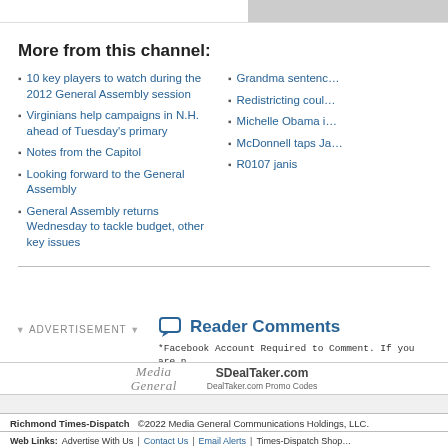More from this channel:
10 key players to watch during the 2012 General Assembly session
Virginians help campaigns in N.H. ahead of Tuesday's primary
Notes from the Capitol
Looking forward to the General Assembly
General Assembly returns Wednesday to tackle budget, other key issues
Grandma sentenc…
Redistricting coul…
Michelle Obama i…
McDonnell taps Ja…
R0107 janis
ADVERTISEMENT
Reader Comments
*Facebook Account Required to Comment. If you are n… comment button to do so.
[Figure (logo): Media General logo]
[Figure (logo): DealTaker.com Promo Codes logo]
Richmond Times-Dispatch ©2022 Media General Communications Holdings, LLC.
Web Links: Advertise With Us | Contact Us | Email Alerts | Times-Dispatch Shop…